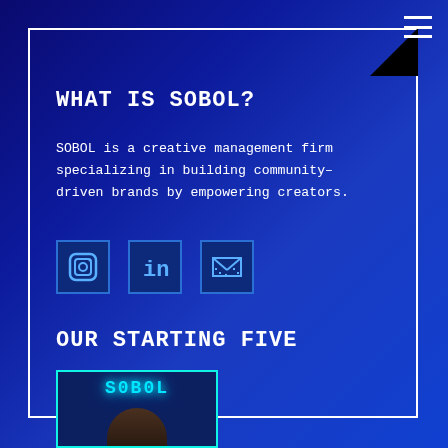WHAT IS SOBOL?
SOBOL is a creative management firm specializing in building community-driven brands by empowering creators.
[Figure (illustration): Three pixel-art social media icons: Instagram, LinkedIn, and Email/envelope icon, rendered in blue square frames]
OUR STARTING FIVE
[Figure (photo): Person wearing a cap partially visible, with a glowing neon cyan SOBOL logo text overlay in a cyan-bordered frame]